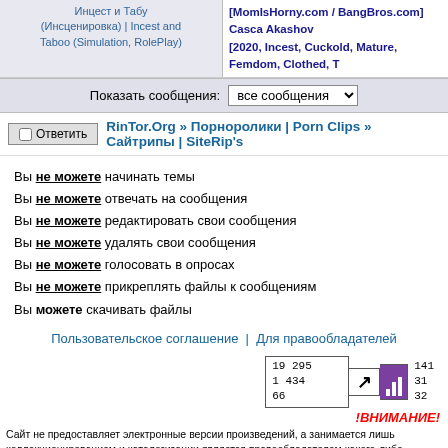Инцест и Табу (Инсценировка) | Incest and Taboo (Simulation, RolePlay) | [MomIsHorny.com / BangBros.com] Casca Akashova [2020, Incest, Cuckold, Mature, Femdom, Clothed, T
Показать сообщения: все сообщения
Ответить RinTor.Org » Порноролики | Porn Clips » Сайтрипы | SiteRip's
Вы не можете начинать темы
Вы не можете отвечать на сообщения
Вы не можете редактировать свои сообщения
Вы не можете удалять свои сообщения
Вы не можете голосовать в опросах
Вы не можете прикреплять файлы к сообщениям
Вы можете скачивать файлы
Пользовательское соглашение | Для правообладателей
[Figure (other): Statistics counter widget showing numbers 19 295, 1 434, 66 with arrow and bar chart icons, and numbers 141, 31, 32 on right]
!ВНИМАНИЕ!
Сайт не предоставляет электронные версии произведений, а занимается лишь коллекционированием и каталогизации является правообладателем какого-либо представленного материала и не желаете, чтобы ссылка на него находила для обмена на трекере предоставлены пользователями сайта, и администрация не несет ответственности за их содер файлы нелегального содержания!